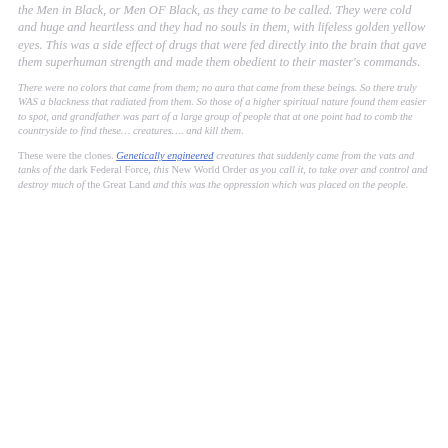the Men in Black, or Men OF Black, as they came to be called. They were cold and huge and heartless and they had no souls in them, with lifeless golden yellow eyes. This was a side effect of drugs that were fed directly into the brain that gave them superhuman strength and made them obedient to their master's commands.
There were no colors that came from them; no aura that came from these beings. So there truly WAS a blackness that radiated from them. So those of a higher spiritual nature found them easier to spot, and grandfather was part of a large group of people that at one point had to comb the countryside to find these… creatures…. and kill them.
These were the clones. Genetically engineered creatures that suddenly came from the vats and tanks of the dark Federal Force, this New World Order as you call it, to take over and control and destroy much of the Great Land and this was the oppression which was placed on the people.